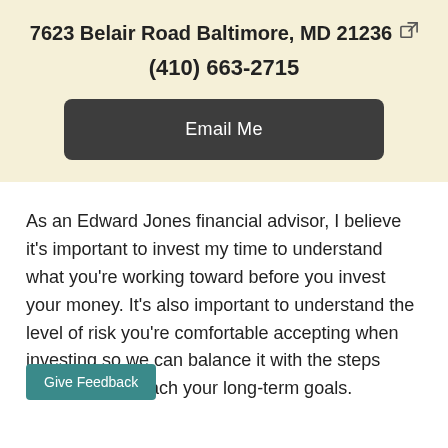7623 Belair Road Baltimore, MD 21236
(410) 663-2715
Email Me
As an Edward Jones financial advisor, I believe it's important to invest my time to understand what you're working toward before you invest your money. It's also important to understand the level of risk you're comfortable accepting when investing so we can balance it with the steps necessary to reach your long-term goals.
Give Feedback